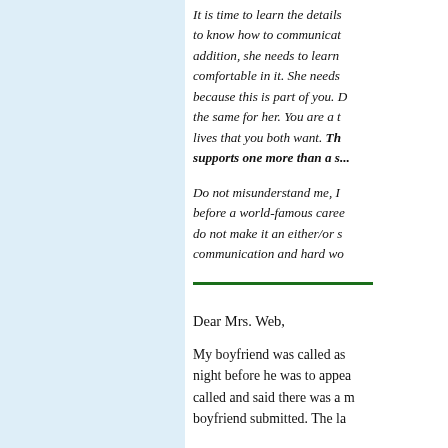It is time to learn the details to know how to communicate. In addition, she needs to learn to be comfortable in it. She needs to because this is part of you. Do the same for her. You are a team. lives that you both want. The partner supports one more than a se...
Do not misunderstand me, I am not before a world-famous career, do not make it an either/or situation communication and hard wo...
Dear Mrs. Web,
My boyfriend was called as a night before he was to appear. called and said there was a return boyfriend submitted. The la...